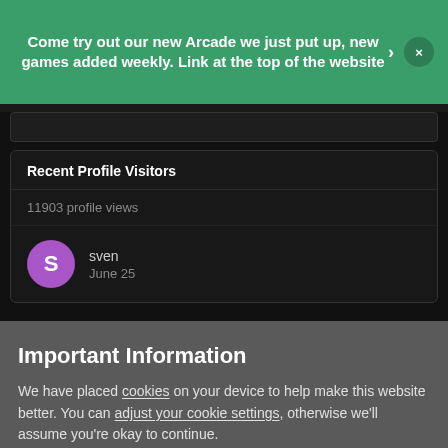Come try out our new Arcade we just put up, new games added weekly. Link at the top of the website
Recent Profile Visitors
11903 profile views
sven
June 25
Important Information
We have placed cookies on your device to help make this website better. You can adjust your cookie settings, otherwise we'll assume you're okay to continue.
✓  I accept